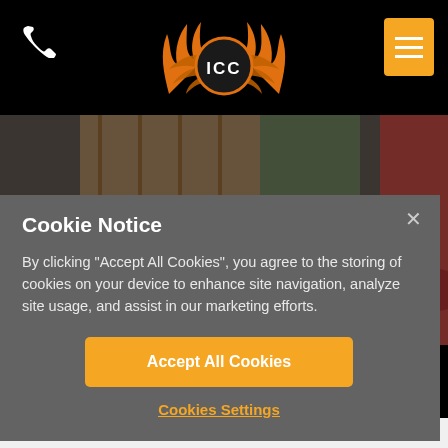[Figure (logo): ICC logo with orange flames and wings on black background]
[Figure (photo): Classic muscle cars in a showroom, including a black Corvette and dark red SS car]
Cookie Notice
By clicking “Accept All Cookies”, you agree to the storing of cookies on your device to enhance site navigation, analyze site usage, and assist in our marketing efforts.
Accept All Cookies
Cookies Settings